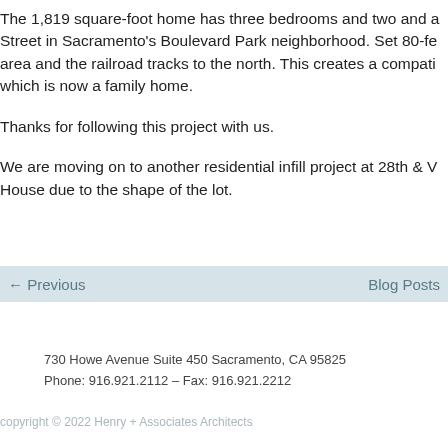The 1,819 square-foot home has three bedrooms and two and a Street in Sacramento’s Boulevard Park neighborhood. Set 80-fe area and the railroad tracks to the north. This creates a compati which is now a family home.
Thanks for following this project with us.
We are moving on to another residential infill project at 28th & V House due to the shape of the lot.
← Previous    Blog Posts
730 Howe Avenue Suite 450 Sacramento, CA 95825
Phone: 916.921.2112 – Fax: 916.921.2212
copyright © 2022 Henry + Associates Architects